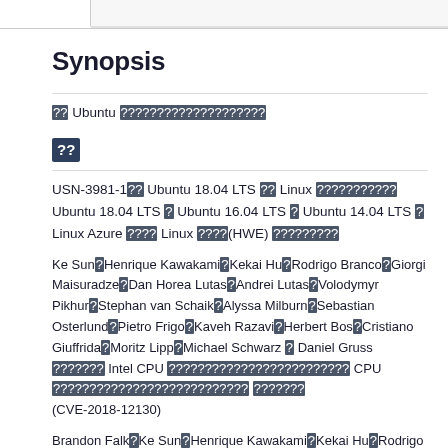Synopsis
?? Ubuntu ????????????????????
??
USN-3981-1?? Ubuntu 18.04 LTS ?? Linux ??????????? Ubuntu 18.04 LTS ? Ubuntu 16.04 LTS ? Ubuntu 14.04 LTS ? Linux Azure ???? Linux ????(HWE) ?????????
Ke Sun?Henrique Kawakami?Kekai Hu?Rodrigo Branco?Giorgi Maisuradze?Dan Horea Lutas?Andrei Lutas?Volodymyr Pikhur?Stephan van Schaik?Alyssa Milburn?Sebastian Osterlund?Pietro Frigo?Kaveh Razavi?Herbert Bos?Cristiano Giuffrida?Moritz Lipp?Michael Schwarz ? Daniel Gruss ??????? Intel CPU ????????????????????????? CPU ??????????????????????????? ??????? (CVE-2018-12130)
Brandon Falk?Ke Sun?Henrique Kawakami?Kekai Hu?Rodrigo